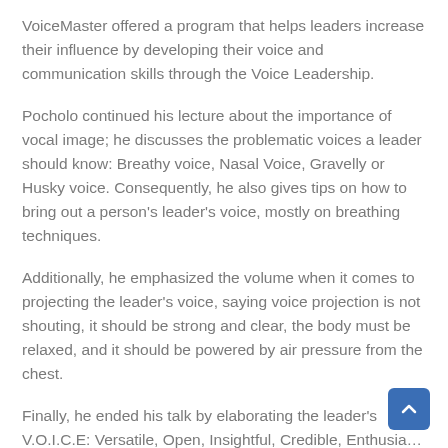VoiceMaster offered a program that helps leaders increase their influence by developing their voice and communication skills through the Voice Leadership.
Pocholo continued his lecture about the importance of vocal image; he discusses the problematic voices a leader should know: Breathy voice, Nasal Voice, Gravelly or Husky voice. Consequently, he also gives tips on how to bring out a person's leader's voice, mostly on breathing techniques.
Additionally, he emphasized the volume when it comes to projecting the leader's voice, saying voice projection is not shouting, it should be strong and clear, the body must be relaxed, and it should be powered by air pressure from the chest.
Finally, he ended his talk by elaborating the leader's V.O.I.C.E: Versatile, Open, Insightful, Credible, Enthusia…